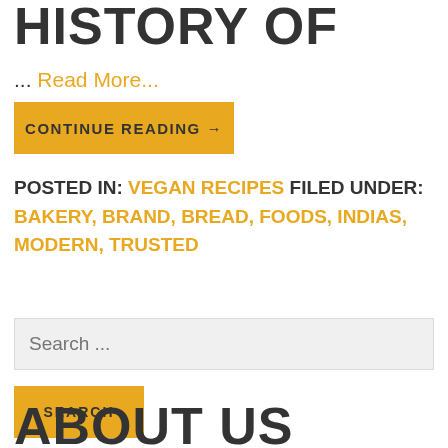HISTORY OF
... Read More...
CONTINUE READING →
POSTED IN: VEGAN RECIPES FILED UNDER: BAKERY, BRAND, BREAD, FOODS, INDIAS, MODERN, TRUSTED
Search ...
SEARCH
ABOUT US